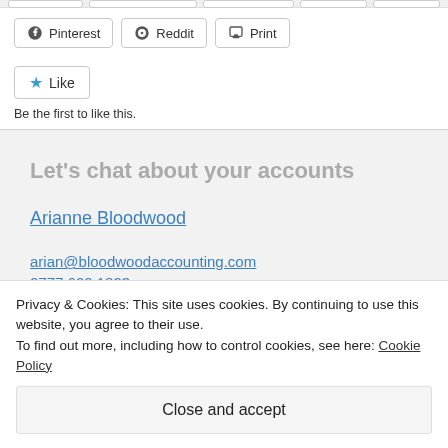[Figure (screenshot): Top partial row of social share buttons (partially visible at top)]
Pinterest
Reddit
Print
Like
Be the first to like this.
Let's chat about your accounts
Arianne Bloodwood
arian@bloodwoodaccounting.com
0777 600 1823
Privacy & Cookies: This site uses cookies. By continuing to use this website, you agree to their use.
To find out more, including how to control cookies, see here: Cookie Policy
Close and accept